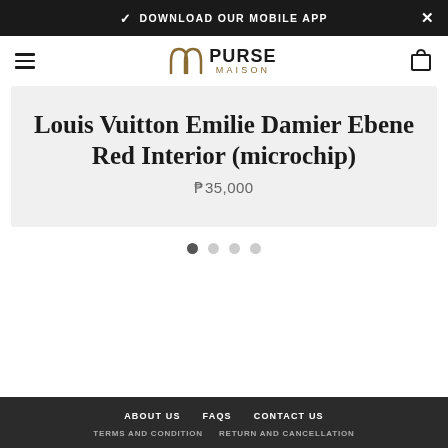DOWNLOAD OUR MOBILE APP
[Figure (logo): Purse Maison logo with stylized arch icon and text PURSE MAISON]
Louis Vuitton Emilie Damier Ebene Red Interior (microchip)
₱35,000
ABOUT US   FAQS   CONTACT US   TERMS AND CONDITION   RETURN AND CANCELLATION